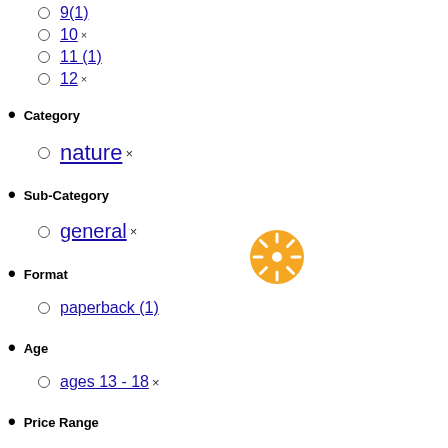9(1) x
10 x
11 (1)
12 x
Category
nature x
Sub-Category
general x
Format
paperback (1)
Age
ages 13 - 18 x
Price Range